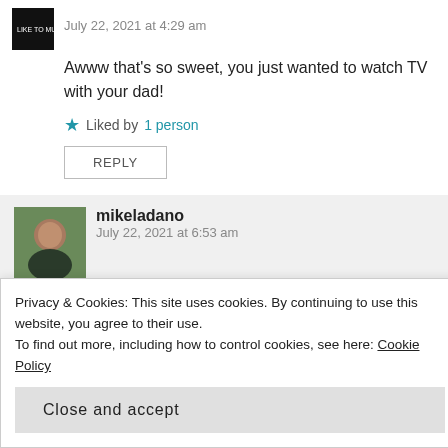July 22, 2021 at 4:29 am
Awww that's so sweet, you just wanted to watch TV with your dad!
Liked by 1 person
REPLY
mikeladano
July 22, 2021 at 6:53 am
I got what I wanted :)
Privacy & Cookies: This site uses cookies. By continuing to use this website, you agree to their use.
To find out more, including how to control cookies, see here: Cookie Policy
Close and accept